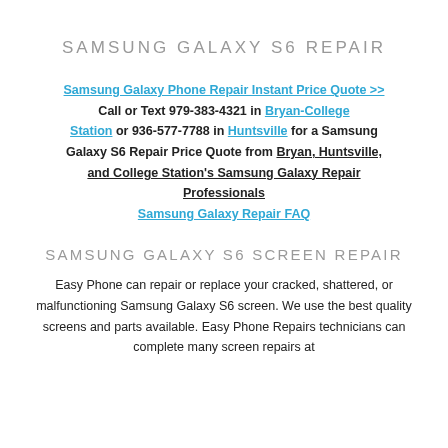SAMSUNG GALAXY S6 REPAIR
Samsung Galaxy Phone Repair Instant Price Quote >> Call or Text 979-383-4321 in Bryan-College Station or 936-577-7788 in Huntsville for a Samsung Galaxy S6 Repair Price Quote from Bryan, Huntsville, and College Station's Samsung Galaxy Repair Professionals
Samsung Galaxy Repair FAQ
SAMSUNG GALAXY S6 SCREEN REPAIR
Easy Phone can repair or replace your cracked, shattered, or malfunctioning Samsung Galaxy S6 screen. We use the best quality screens and parts available. Easy Phone Repairs technicians can complete many screen repairs at